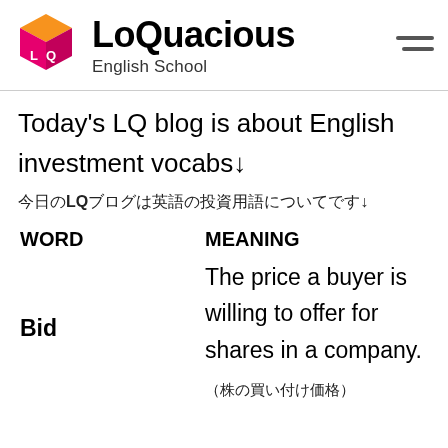[Figure (logo): LoQuacious English School logo with orange cube icon on top and pink LQ cube below, with the school name in bold and subtitle 'English School']
Today's LQ blog is about English investment vocabs↓
今日のLQブログは英語の投資用語についてです↓
| WORD | MEANING |
| --- | --- |
| Bid | The price a buyer is willing to offer for shares in a company. (株の買い付け価格) |